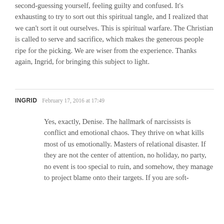second-guessing yourself, feeling guilty and confused. It's exhausting to try to sort out this spiritual tangle, and I realized that we can't sort it out ourselves. This is spiritual warfare. The Christian is called to serve and sacrifice, which makes the generous people ripe for the picking. We are wiser from the experience. Thanks again, Ingrid, for bringing this subject to light.
INGRID   February 17, 2016 at 17:49
Yes, exactly, Denise. The hallmark of narcissists is conflict and emotional chaos. They thrive on what kills most of us emotionally. Masters of relational disaster. If they are not the center of attention, no holiday, no party, no event is too special to ruin, and somehow, they manage to project blame onto their targets. If you are soft-